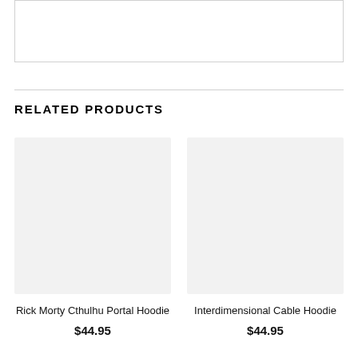[Figure (other): Empty white box with border at top of page]
RELATED PRODUCTS
[Figure (photo): Product image placeholder for Rick Morty Cthulhu Portal Hoodie]
Rick Morty Cthulhu Portal Hoodie
$44.95
[Figure (photo): Product image placeholder for Interdimensional Cable Hoodie]
Interdimensional Cable Hoodie
$44.95